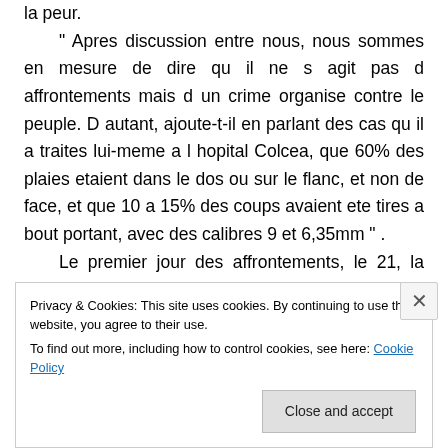la peur. " Apres discussion entre nous, nous sommes en mesure de dire qu il ne s agit pas d affrontements mais d un crime organise contre le peuple. D autant, ajoute-t-il en parlant des cas qu il a traites lui-meme a l hopital Colcea, que 60% des plaies etaient dans le dos ou sur le flanc, et non de face, et que 10 a 15% des coups avaient ete tires a bout portant, avec des calibres 9 et 6,35mm " . Le premier jour des affrontements, le 21, la majorite des blesses etaient des jeunes. " Ils
Privacy & Cookies: This site uses cookies. By continuing to use this website, you agree to their use. To find out more, including how to control cookies, see here: Cookie Policy
Close and accept